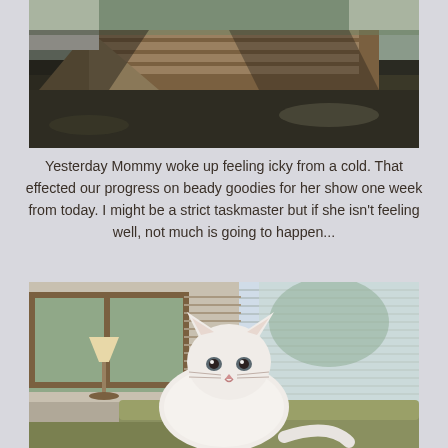[Figure (photo): Outdoor photo of a wooden ramp or raised garden bed structure with dark mulch/soil, trees casting shadows, white structure visible at top]
Yesterday Mommy woke up feeling icky from a cold. That effected our progress on beady goodies for her show one week from today. I might be a strict taskmaster but if she isn't feeling well, not much is going to happen...
[Figure (photo): White fluffy cat sitting on the arm of a couch/chair, looking directly at camera, wooden blinds and windows visible in background, lamp and furniture in background]